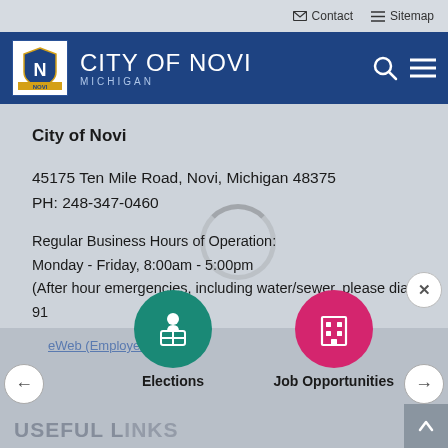Contact   Sitemap
[Figure (logo): City of Novi Michigan logo with blue shield emblem and white text on navy background]
City of Novi
45175 Ten Mile Road, Novi, Michigan 48375
PH: 248-347-0460
Regular Business Hours of Operation:
Monday - Friday, 8:00am - 5:00pm
(After hour emergencies, including water/sewer, please dial 91
eWeb (Employee website)
[Figure (illustration): Elections navigation button: teal circle with person at turnstile icon, labeled Elections]
[Figure (illustration): Job Opportunities navigation button: pink/magenta circle with building icon, labeled Job Opportunities]
USEFUL LINKS